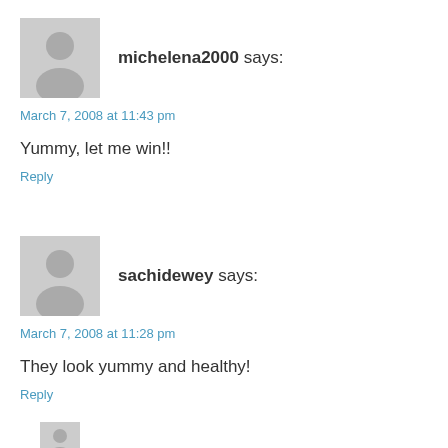[Figure (illustration): Gray placeholder avatar icon (person silhouette) for user michelena2000]
michelena2000 says:
March 7, 2008 at 11:43 pm
Yummy, let me win!!
Reply
[Figure (illustration): Gray placeholder avatar icon (person silhouette) for user sachidewey]
sachidewey says:
March 7, 2008 at 11:28 pm
They look yummy and healthy!
Reply
[Figure (illustration): Gray placeholder avatar icon (person silhouette) partially visible at bottom]